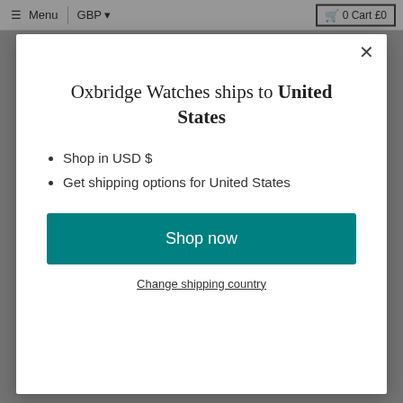≡ Menu  |  GBP ▾    🛒 0 Cart £0
Oxbridge Watches ships to United States
Shop in USD $
Get shipping options for United States
Shop now
Change shipping country
Sign-up to Get £25 off your next order as well as other exclusive offers.